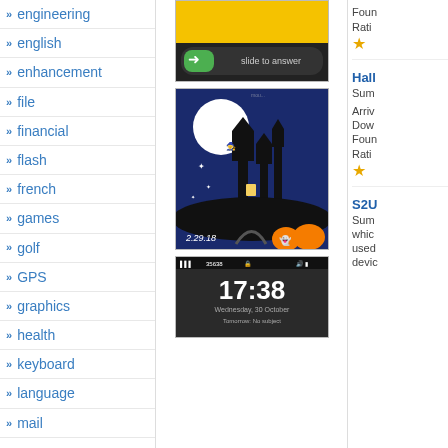engineering
english
enhancement
file
financial
flash
french
games
golf
GPS
graphics
health
keyboard
language
mail
map
media
medical
misc/fun
[Figure (screenshot): iPhone screen showing 'slide to answer' interface with zebra image]
Found
Rating
[Figure (screenshot): Halloween themed wallpaper showing haunted castle with moon, witch, and pumpkins, version 2.29.18]
Hall
Summ
Arriv
Down
Foun
Rating
[Figure (screenshot): Android lock screen showing time 17:38, Wednesday 30 October, Tomorrow: No subject]
S2U
Summ
which
used
devic